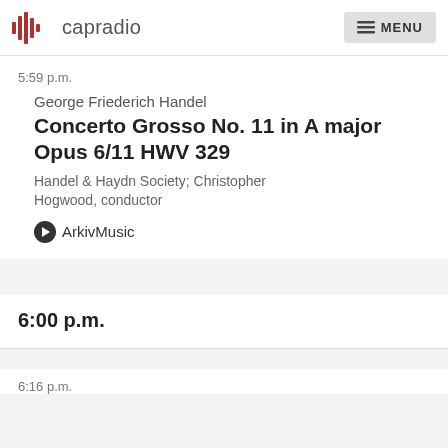capradio  MENU
5:59 p.m.
George Friederich Handel
Concerto Grosso No. 11 in A major Opus 6/11 HWV 329
Handel & Haydn Society; Christopher Hogwood, conductor
ArkivMusic
6:00 p.m.
6:16 p.m.